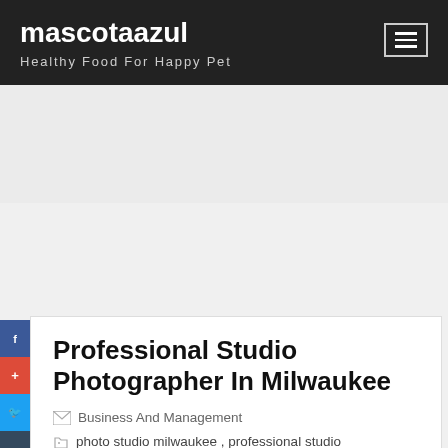mascotaazul
Healthy Food For Happy Pet
Professional Studio Photographer In Milwaukee
Business And Management
photo studio milwaukee , professional studio photographers
Professional photography is a great way to capture those special moments. There are many different